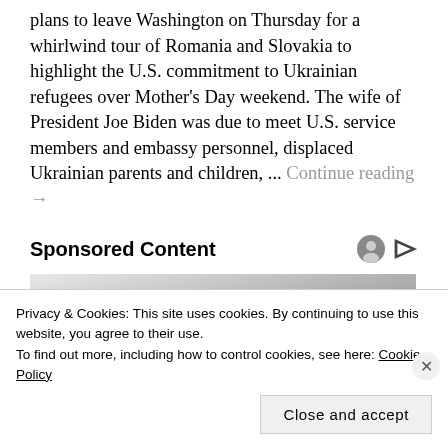plans to leave Washington on Thursday for a whirlwind tour of Romania and Slovakia to highlight the U.S. commitment to Ukrainian refugees over Mother's Day weekend. The wife of President Joe Biden was due to meet U.S. service members and embassy personnel, displaced Ukrainian parents and children, ... Continue reading →
Sponsored Content
[Figure (other): Sponsored content advertisement placeholder image with gradient grey background]
Privacy & Cookies: This site uses cookies. By continuing to use this website, you agree to their use.
To find out more, including how to control cookies, see here: Cookie Policy